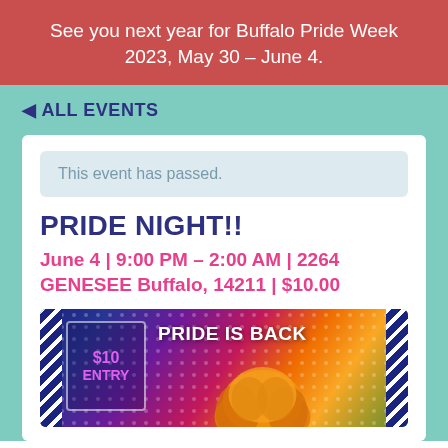See you next year for Buffalo Pride Week 2023, May 30 – June 4.
◄ ALL EVENTS
This event has passed.
PRIDE NIGHT!!
June 4 | 9:00 PM – 2:00 AM | 2264 GENESEE Buffalo, 14211 | $10.00
[Figure (photo): Event promotional banner with rainbow gradient background, diagonal blue and white stripes on sides, a price badge showing $10 ENTRY on the left, text 'PRIDE IS BACK' in the center-right, and a decorative wig/hair element at the bottom center.]